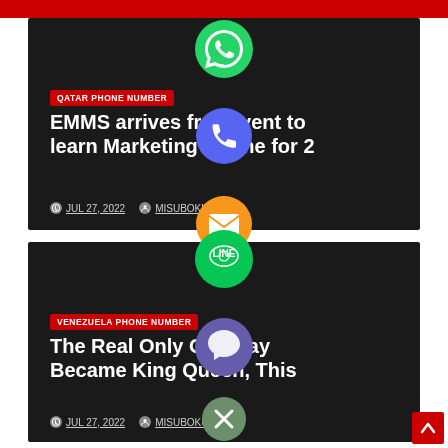[Figure (screenshot): Top red banner remnant visible at the top of the page]
[Figure (illustration): WhatsApp green circle icon floating between cards]
QATAR PHONE NUMBER
EMMS arrives free event to learn Marketing Online for 2
JUL 27, 2022   MISUBOKUL
[Figure (illustration): Blue phone call circle icon floating]
[Figure (illustration): Orange email envelope circle icon floating]
[Figure (illustration): LINE green circle icon floating between cards]
VENEZUELA PHONE NUMBER
The Real Only One Day Became King Queen, This
JUL 27, 2022   MISUBOKUL
[Figure (illustration): Viber purple circle icon floating]
[Figure (illustration): Close/X circle icon (grey-green) floating]
[Figure (illustration): Red scroll-to-top button at bottom right with up arrow]